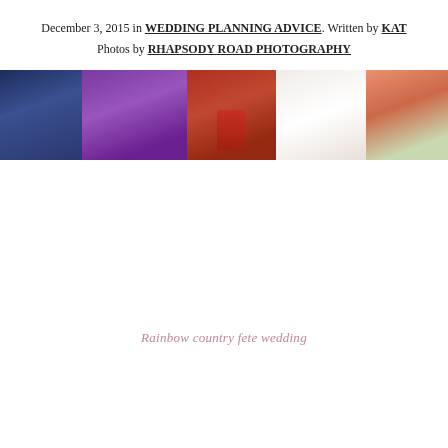December 3, 2015 in WEDDING PLANNING ADVICE. Written by KAT
Photos by RHAPSODY ROAD PHOTOGRAPHY
[Figure (photo): A horizontal strip of wedding photos showing a groom in dark suit, bridesmaids in purple and colorful dresses, a bridesmaid with red hair, a bride in white holding a bouquet, and bridesmaids in coral/orange dresses, set outdoors with green foliage.]
Rainbow country fete wedding
i Kat
My best friend is getting married for all the